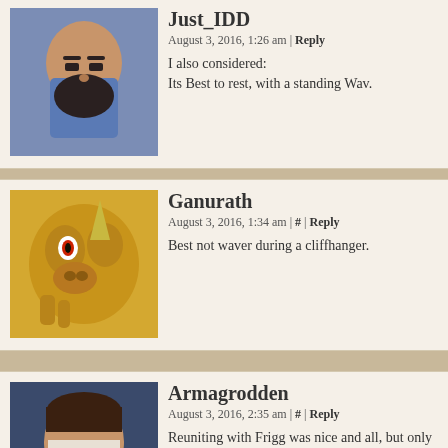Just_IDD — August 3, 2016, 1:26 am | Reply — I also considered: Its Best to rest, with a standing Wav.
Ganurath — August 3, 2016, 1:34 am | # | Reply — Best not waver during a cliffhanger.
Armagrodden — August 3, 2016, 2:35 am | # | Reply — Reuniting with Frigg was nice and all, but only the touch of his Or
Thrawcheld — August 3, 2016, 7:34 am | Reply — Indeed, there's nothing like the threat of imminent
minando — August 3, 2016, 8:40 am | Reply